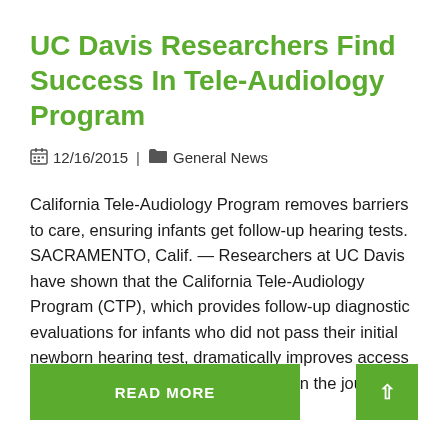UC Davis Researchers Find Success In Tele-Audiology Program
12/16/2015 | General News
California Tele-Audiology Program removes barriers to care, ensuring infants get follow-up hearing tests. SACRAMENTO, Calif. — Researchers at UC Davis have shown that the California Tele-Audiology Program (CTP), which provides follow-up diagnostic evaluations for infants who did not pass their initial newborn hearing test, dramatically improves access to audiologists. In a study published in the journal Telemedicine and e-Health, the
READ MORE